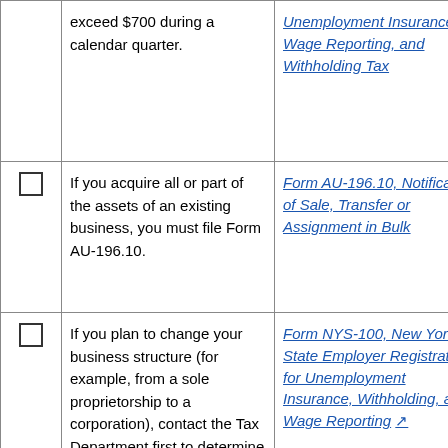| Checkbox | Description | Form Link |
| --- | --- | --- |
| ☐ | exceed $700 during a calendar quarter. | Unemployment Insurance, Wage Reporting, and Withholding Tax |
| ☐ | If you acquire all or part of the assets of an existing business, you must file Form AU-196.10. | Form AU-196.10, Notification of Sale, Transfer or Assignment in Bulk |
| ☐ | If you plan to change your business structure (for example, from a sole proprietorship to a corporation), contact the Tax Department first to determine your next steps. You may also | Form NYS-100, New York State Employer Registration for Unemployment Insurance, Withholding, and Wage Reporting ↗ |